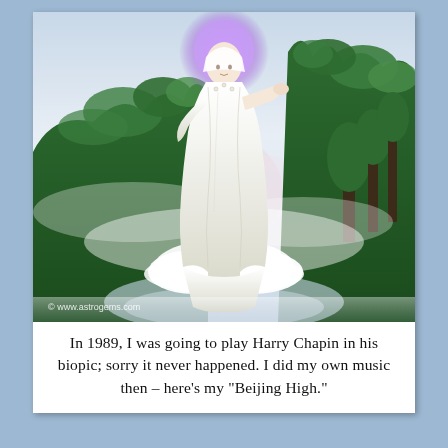[Figure (illustration): A serene spiritual illustration of a white-robed Guanyin (Goddess of Mercy) figure floating on clouds above a misty green mountain landscape, with purple halo above her head. Watermark reads '© www.astrogems.com'.]
In 1989, I was going to play Harry Chapin in his biopic; sorry it never happened. I did my own music then – here's my "Beijing High."